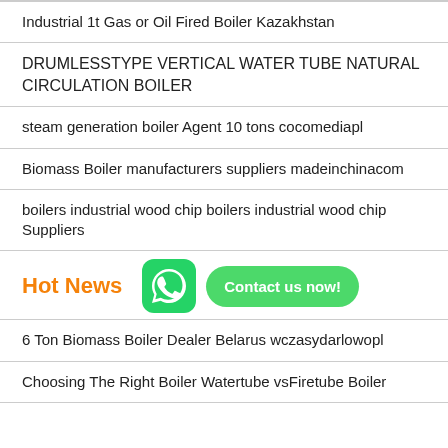Industrial 1t Gas or Oil Fired Boiler Kazakhstan
DRUMLESSTYPE VERTICAL WATER TUBE NATURAL CIRCULATION BOILER
steam generation boiler Agent 10 tons cocomediapl
Biomass Boiler manufacturers suppliers madeinchinacom
boilers industrial wood chip boilers industrial wood chip Suppliers
Hot News
[Figure (logo): WhatsApp icon - green rounded square with phone handset]
Contact us now!
6 Ton Biomass Boiler Dealer Belarus wczasydarlowopl
Choosing The Right Boiler Watertube vsFiretube Boiler